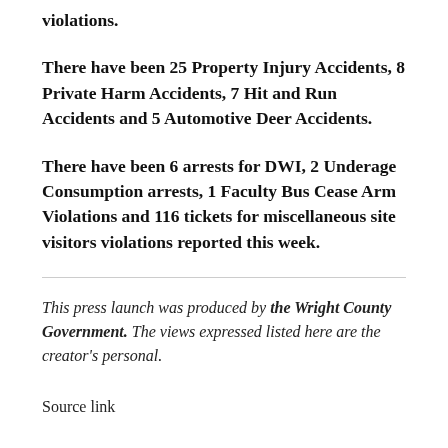violations.
There have been 25 Property Injury Accidents, 8 Private Harm Accidents, 7 Hit and Run Accidents and 5 Automotive Deer Accidents.
There have been 6 arrests for DWI, 2 Underage Consumption arrests, 1 Faculty Bus Cease Arm Violations and 116 tickets for miscellaneous site visitors violations reported this week.
This press launch was produced by the Wright County Government. The views expressed listed here are the creator's personal.
Source link